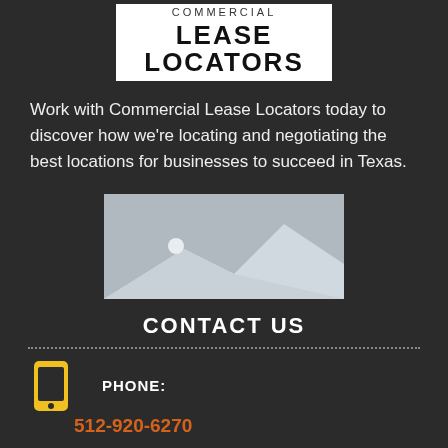COMMERCIAL LEASE LOCATORS
Work with Commercial Lease Locators today to discover how we're locating and negotiating the best locations for businesses to succeed in Texas.
[Figure (photo): Placeholder image showing a generic landscape silhouette in gray tones]
CONTACT US
PHONE:
512-920-6270